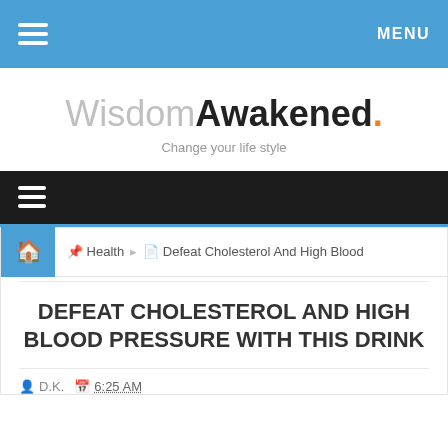MENU
WisdomAwakened. Change your life style
☰ (navigation menu)
🏠 Health ▶ Defeat Cholesterol And High Blood
DEFEAT CHOLESTEROL AND HIGH BLOOD PRESSURE WITH THIS DRINK
D.K.  6:25 AM